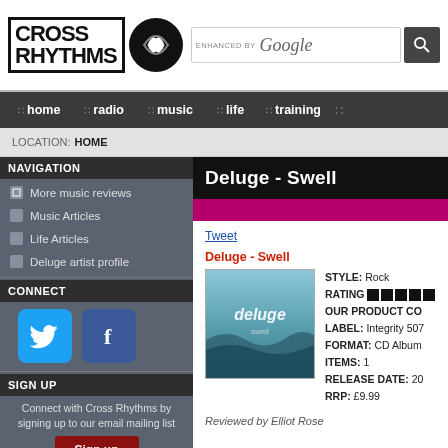[Figure (logo): Cross Rhythms logo with bold text and circular badge, plus Google search bar]
home  radio  music  life  training
LOCATION: HOME
NAVIGATION
More music reviews
Music Articles
Life Articles
Deluge artist profile
CONNECT
[Figure (logo): Twitter bird icon button]
[Figure (logo): Facebook f icon button]
SIGN UP
Connect with Cross Rhythms by signing up to our email mailing list
Deluge - Swell
Tweet
Deluge - Swell
| Field | Value |
| --- | --- |
| STYLE: | Rock |
| RATING | ■■■■■ |
| OUR PRODUCT CO |  |
| LABEL: | Integrity 507 |
| FORMAT: | CD Album |
| ITEMS: | 1 |
| RELEASE DATE: | 20 |
| RRP: | £9.99 |
[Figure (photo): Album cover for Deluge - Swell showing ocean waves with text 'deluge' overlay]
Reviewed by Elliot Rose